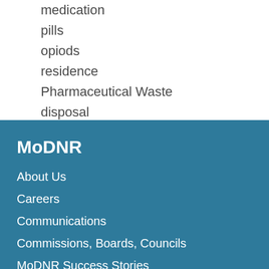medication
pills
opiods
residence
Pharmaceutical Waste
disposal
MoDNR
About Us
Careers
Communications
Commissions, Boards, Councils
MoDNR Success Stories
Missouri Resources Online
DO BUSINESS